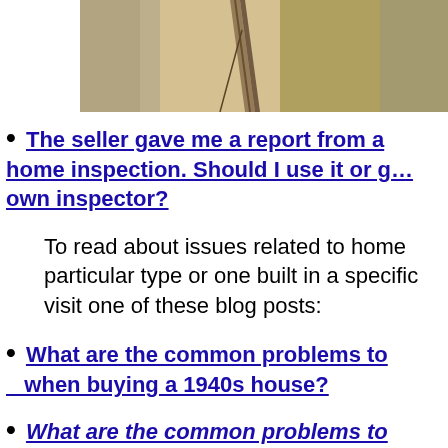[Figure (photo): Photo of cracked or damaged wooden board/plywood surface]
The seller gave me a report from a home inspection. Should I use it or get my own inspector?
To read about issues related to homes of a particular type or one built in a specific era, visit one of these blog posts:
What are the common problems to look for when buying a 1940s house?
What are the common problems to look for when buying a 1950s house?
What are the common problems to...